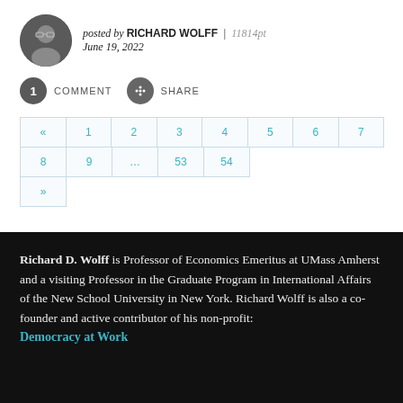posted by RICHARD WOLFF | 11814pt
June 19, 2022
1 COMMENT   SHARE
« 1 2 3 4 5 6 7 8 9 ... 53 54
»
Richard D. Wolff is Professor of Economics Emeritus at UMass Amherst and a visiting Professor in the Graduate Program in International Affairs of the New School University in New York. Richard Wolff is also a co-founder and active contributor of his non-profit: Democracy at Work